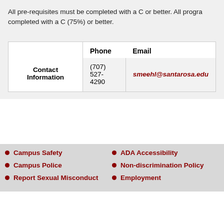All pre-requisites must be completed with a C or better. All progra completed with a C (75%) or better.
| Contact Information | Phone | Email |
| --- | --- | --- |
|  | (707) 527-4290 | smeehl@santarosa.edu |
Campus Safety
ADA Accessibility
Campus Police
Non-discrimination Policy
Report Sexual Misconduct
Employment